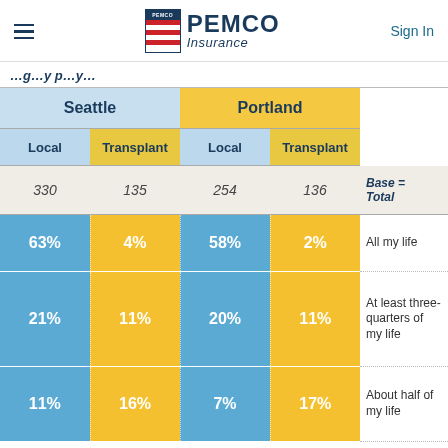PEMCO Insurance — Sign In
(partially visible header text)
| Seattle Local | Seattle Transplant | Portland Local | Portland Transplant | Base = Total |
| --- | --- | --- | --- | --- |
| 330 | 135 | 254 | 136 | Base = Total |
| 63% | 4% | 58% | 2% | All my life |
| 21% | 11% | 20% | 11% | At least three-quarters of my life |
| 11% | 16% | 7% | 17% | About half of my life |